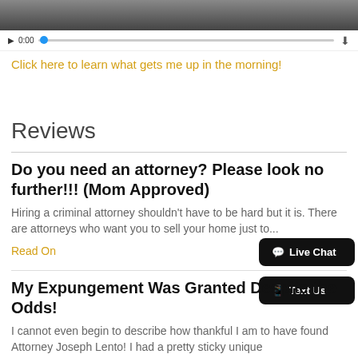[Figure (photo): Partial photo of a person at the top of the page, cropped — only lower body visible against a light background]
▶ 0:00  [audio progress bar]  ⬇
Click here to learn what gets me up in the morning!
Reviews
Do you need an attorney? Please look no further!!! (Mom Approved)
Hiring a criminal attorney shouldn't have to be hard but it is. There are attorneys who want you to sell your home just to...
Read On
My Expungement Was Granted Despite the Odds!
I cannot even begin to describe how thankful I am to have found Attorney Joseph Lento! I had a pretty sticky unique